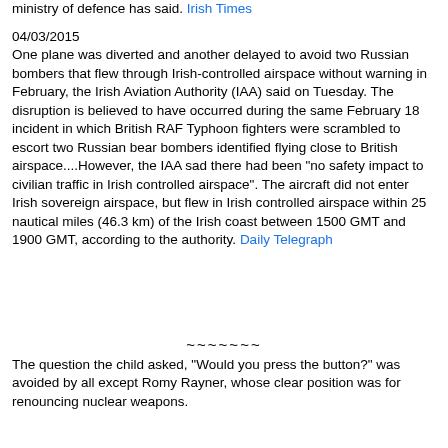ministry of defence has said. Irish Times
04/03/2015
One plane was diverted and another delayed to avoid two Russian bombers that flew through Irish-controlled airspace without warning in February, the Irish Aviation Authority (IAA) said on Tuesday. The disruption is believed to have occurred during the same February 18 incident in which British RAF Typhoon fighters were scrambled to escort two Russian bear bombers identified flying close to British airspace....However, the IAA sad there had been "no safety impact to civilian traffic in Irish controlled airspace". The aircraft did not enter Irish sovereign airspace, but flew in Irish controlled airspace within 25 nautical miles (46.3 km) of the Irish coast between 1500 GMT and 1900 GMT, according to the authority. Daily Telegraph
~~~~~~~
The question the child asked, "Would you press the button?" was avoided by all except Romy Rayner, whose clear position was for renouncing nuclear weapons.